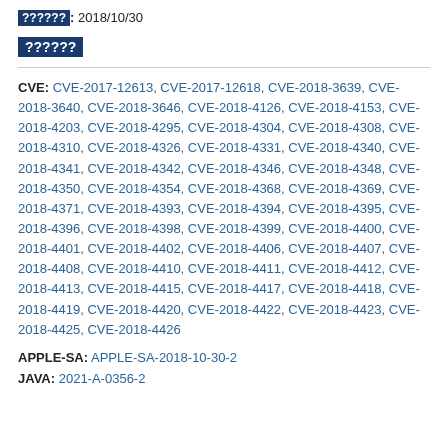??????: 2018/10/30
??????
CVE: CVE-2017-12613, CVE-2017-12618, CVE-2018-3639, CVE-2018-3640, CVE-2018-3646, CVE-2018-4126, CVE-2018-4153, CVE-2018-4203, CVE-2018-4295, CVE-2018-4304, CVE-2018-4308, CVE-2018-4310, CVE-2018-4326, CVE-2018-4331, CVE-2018-4340, CVE-2018-4341, CVE-2018-4342, CVE-2018-4346, CVE-2018-4348, CVE-2018-4350, CVE-2018-4354, CVE-2018-4368, CVE-2018-4369, CVE-2018-4371, CVE-2018-4393, CVE-2018-4394, CVE-2018-4395, CVE-2018-4396, CVE-2018-4398, CVE-2018-4399, CVE-2018-4400, CVE-2018-4401, CVE-2018-4402, CVE-2018-4406, CVE-2018-4407, CVE-2018-4408, CVE-2018-4410, CVE-2018-4411, CVE-2018-4412, CVE-2018-4413, CVE-2018-4415, CVE-2018-4417, CVE-2018-4418, CVE-2018-4419, CVE-2018-4420, CVE-2018-4422, CVE-2018-4423, CVE-2018-4425, CVE-2018-4426
APPLE-SA: APPLE-SA-2018-10-30-2
JAVA: 2021-A-0356-2